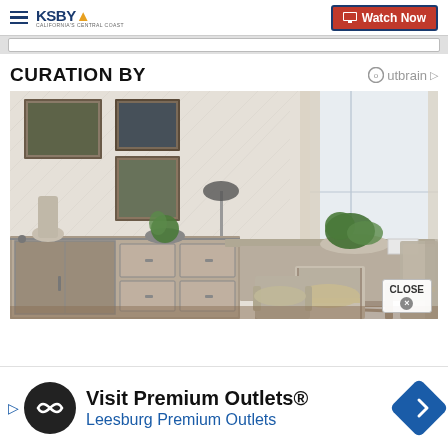KSBY California's Central Coast — Watch Now
CURATION BY Outbrain
[Figure (photo): Dining room furniture set with rustic grey wood table and chairs, sideboard with barn door, potted plants, framed artwork on herringbone wallpaper background]
CLOSE
Visit Premium Outlets® Leesburg Premium Outlets